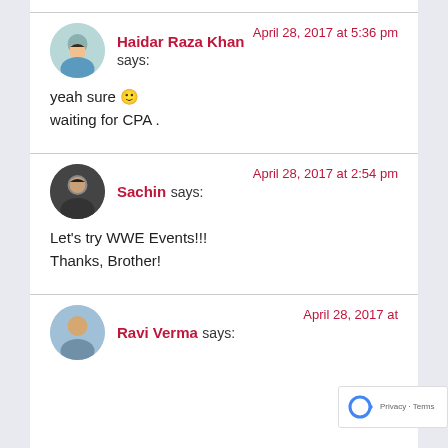Haidar Raza Khan says: April 28, 2017 at 5:36 pm
yeah sure 🙂
waiting for CPA .
Sachin says: April 28, 2017 at 2:54 pm
Let's try WWE Events!!!
Thanks, Brother!
Ravi Verma says: April 28, 2017 at